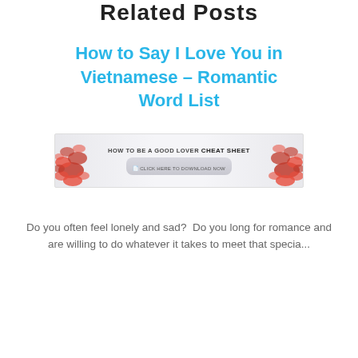Related Posts
How to Say I Love You in Vietnamese – Romantic Word List
[Figure (screenshot): Banner advertisement: 'HOW TO BE A GOOD LOVER CHEAT SHEET' with a 'CLICK HERE TO DOWNLOAD NOW' button, flanked by red rose petals on both sides]
Do you often feel lonely and sad? Do you long for romance and are willing to do whatever it takes to meet that specia...